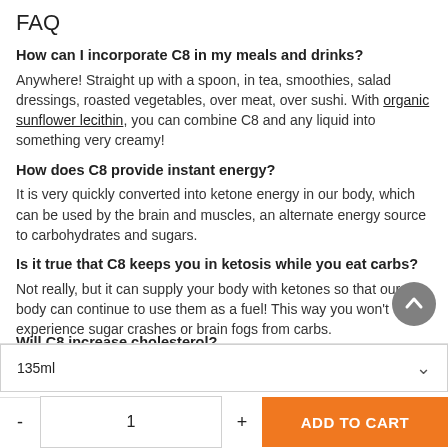FAQ
How can I incorporate C8 in my meals and drinks?
Anywhere! Straight up with a spoon, in tea, smoothies, salad dressings, roasted vegetables, over meat, over sushi. With organic sunflower lecithin, you can combine C8 and any liquid into something very creamy!
How does C8 provide instant energy?
It is very quickly converted into ketone energy in our body, which can be used by the brain and muscles, an alternate energy source to carbohydrates and sugars.
Is it true that C8 keeps you in ketosis while you eat carbs?
Not really, but it can supply your body with ketones so that our body can continue to use them as a fuel! This way you won't experience sugar crashes or brain fogs from carbs.
Will C8 increase cholesterol?